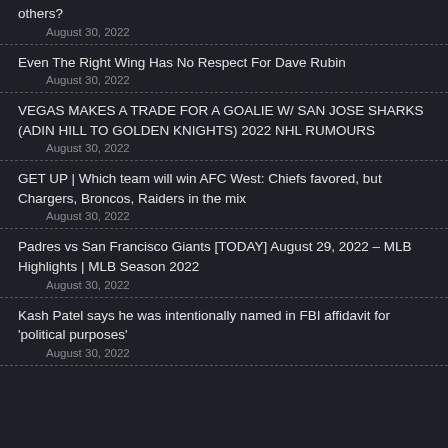others?
August 30, 2022
Even The Right Wing Has No Respect For Dave Rubin
August 30, 2022
VEGAS MAKES A TRADE FOR A GOALIE W/ SAN JOSE SHARKS (ADIN HILL TO GOLDEN KNIGHTS) 2022 NHL RUMOURS
August 30, 2022
GET UP | Which team will win AFC West: Chiefs favored, but Chargers, Broncos, Raiders in the mix
August 30, 2022
Padres vs San Francisco Giants [TODAY] August 29, 2022 – MLB Highlights | MLB Season 2022
August 30, 2022
Kash Patel says he was intentionally named in FBI affidavit for 'political purposes'
August 30, 2022